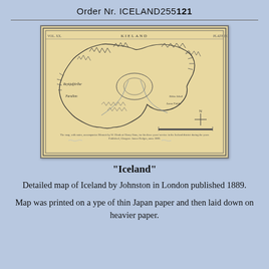Order Nr. ICELAND255121
[Figure (map): Antique map of Iceland by Johnston, London, 1889. Detailed engraved map printed on aged yellowish paper with decorative border, showing the coastline, mountains, and place names of Iceland including labels such as KIELAND at top, Farallon, and other geographical features. A compass cross is visible in the lower right.]
"Iceland"
Detailed map of Iceland by Johnston in London published 1889.
Map was printed on a ype of thin Japan paper and then laid down on heavier paper.